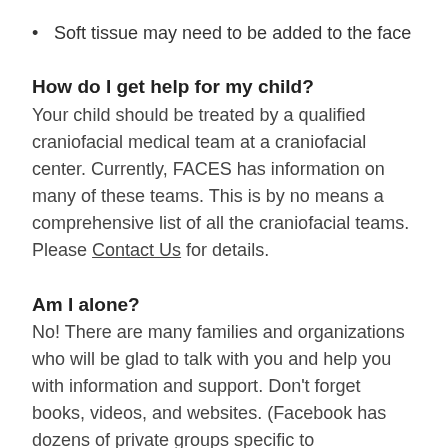Soft tissue may need to be added to the face
How do I get help for my child?
Your child should be treated by a qualified craniofacial medical team at a craniofacial center. Currently, FACES has information on many of these teams. This is by no means a comprehensive list of all the craniofacial teams.
Please Contact Us for details.
Am I alone?
No! There are many families and organizations who will be glad to talk with you and help you with information and support. Don't forget books, videos, and websites. (Facebook has dozens of private groups specific to